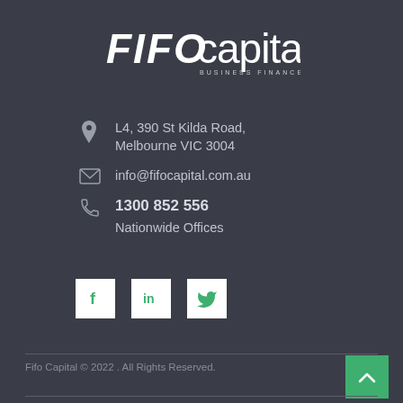[Figure (logo): FIFO Capital Business Finance logo — white bold italic FIFO + lowercase capital text, with BUSINESS FINANCE subtitle]
L4, 390 St Kilda Road, Melbourne VIC 3004
info@fifocapital.com.au
1300 852 556
Nationwide Offices
[Figure (illustration): Social media icon buttons: Facebook (f), LinkedIn (in), Twitter (bird) — white square backgrounds with green icons]
Fifo Capital © 2022 . All Rights Reserved.